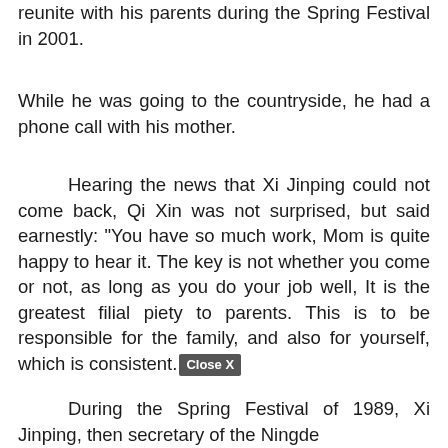reunite with his parents during the Spring Festival in 2001.
While he was going to the countryside, he had a phone call with his mother.
Hearing the news that Xi Jinping could not come back, Qi Xin was not surprised, but said earnestly: "You have so much work, Mom is quite happy to hear it. The key is not whether you come or not, as long as you do your job well, It is the greatest filial piety to parents. This is to be responsible for the family, and also for yourself, which is consistent."
During the Spring Festival of 1989, Xi Jinping, then secretary of the Ningde